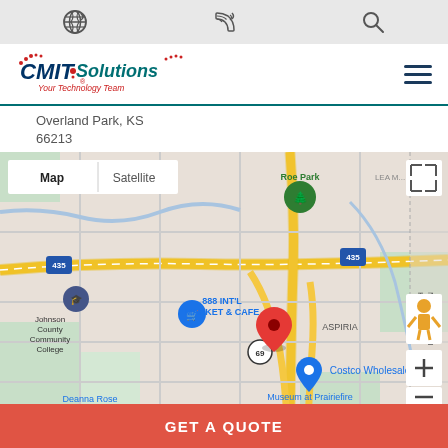Top utility bar with globe, phone, and search icons
[Figure (logo): CMIT Solutions logo with text 'Your Technology Team' and hamburger menu icon]
Overland Park, KS
66213
[Figure (map): Google Map showing Overland Park, KS 66213 area with red location pin, nearby landmarks including Johnson County Community College, 888 INT'L MARKET & CAFE, Costco Wholesale, Deanna Rose Children's Farmstead, Museum at Prairiefire, Roe Park. Map controls include Map/Satellite toggle, fullscreen button, street view pegman, and zoom controls. Missouri-Kansas state border visible on right.]
GET A QUOTE